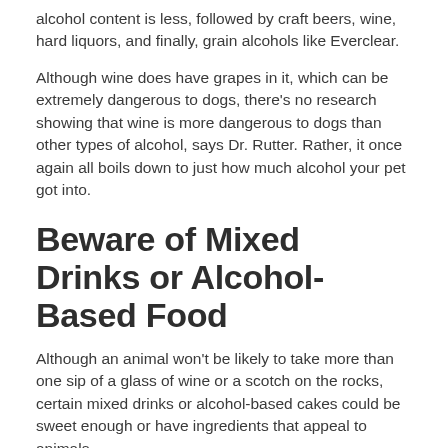alcohol content is less, followed by craft beers, wine, hard liquors, and finally, grain alcohols like Everclear.
Although wine does have grapes in it, which can be extremely dangerous to dogs, there's no research showing that wine is more dangerous to dogs than other types of alcohol, says Dr. Rutter. Rather, it once again all boils down to just how much alcohol your pet got into.
Beware of Mixed Drinks or Alcohol-Based Food
Although an animal won't be likely to take more than one sip of a glass of wine or a scotch on the rocks, certain mixed drinks or alcohol-based cakes could be sweet enough or have ingredients that appeal to animals.